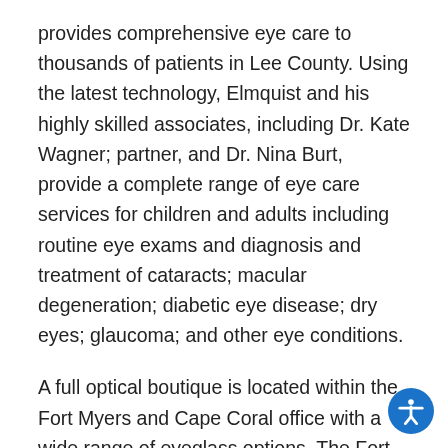provides comprehensive eye care to thousands of patients in Lee County. Using the latest technology, Elmquist and his highly skilled associates, including Dr. Kate Wagner; partner, and Dr. Nina Burt, provide a complete range of eye care services for children and adults including routine eye exams and diagnosis and treatment of cataracts; macular degeneration; diabetic eye disease; dry eyes; glaucoma; and other eye conditions.
A full optical boutique is located within the Fort Myers and Cape Coral office with a wide range of eyeglass options. The Fort Myers office is located at 13678 N... Brittany Blvd...